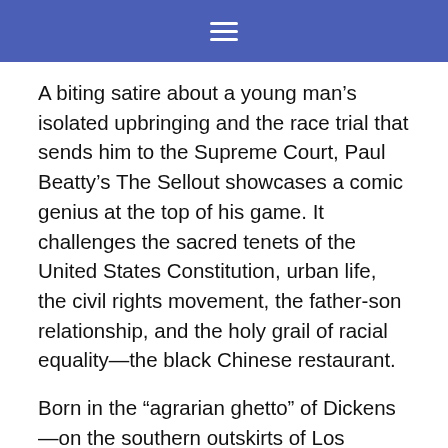menu
A biting satire about a young man’s isolated upbringing and the race trial that sends him to the Supreme Court, Paul Beatty’s The Sellout showcases a comic genius at the top of his game. It challenges the sacred tenets of the United States Constitution, urban life, the civil rights movement, the father-son relationship, and the holy grail of racial equality—the black Chinese restaurant.
Born in the “agrarian ghetto” of Dickens—on the southern outskirts of Los Angeles—the narrator of The Sellout resigns himself to the fate of lower-middle-class Californians: “I’d die in the same bedroom I’d grown up in